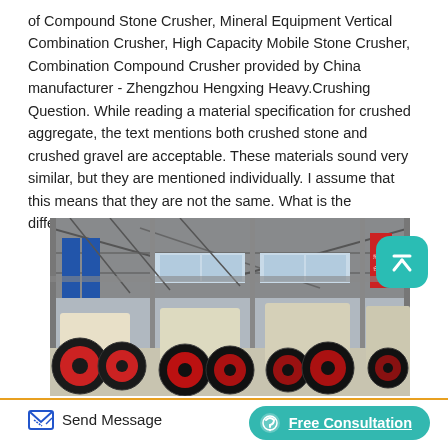of Compound Stone Crusher, Mineral Equipment Vertical Combination Crusher, High Capacity Mobile Stone Crusher, Combination Compound Crusher provided by China manufacturer - Zhengzhou Hengxing Heavy.Crushing Question. While reading a material specification for crushed aggregate, the text mentions both crushed stone and crushed gravel are acceptable. These materials sound very similar, but they are mentioned individually. I assume that this means that they are not the same. What is the difference.
[Figure (photo): Industrial factory floor showing multiple large stone crushers with red and black flywheels arranged in a row inside a large warehouse building with metal roof structure and blue banners visible in the background.]